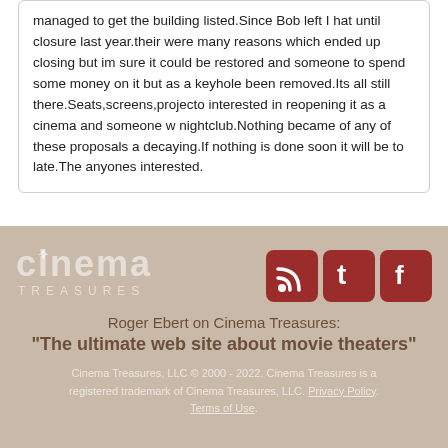managed to get the building listed.Since Bob left I hat until closure last year.their were many reasons which ended up closing but im sure it could be restored and someone to spend some money on it but as a keyhole been removed.Its all still there.Seats,screens,projecto interested in reopening it as a cinema and someone w nightclub.Nothing became of any of these proposals a decaying.If nothing is done soon it will be to late.The anyones interested.
[Figure (logo): Cinema Treasures logo with social media icons (RSS, Twitter, Facebook) in dark red]
Roger Ebert on Cinema Treasures: "The ultimate web site about movie theaters"
Cinema Treasures, LLC © 2000 - 2022. Cinema Treasures is a registered trademark of Cinema Treasures, LLC. Privacy Policy. Terms of Use.